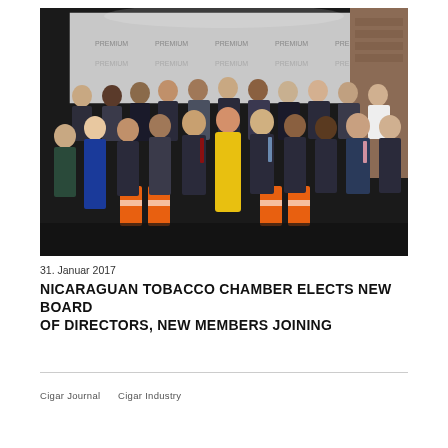[Figure (photo): Group photo of approximately 25 people in formal attire, standing in front of a branded backdrop with logos. A woman in a yellow dress stands in the center front. Others are dressed in suits and business attire.]
31. Januar 2017
NICARAGUAN TOBACCO CHAMBER ELECTS NEW BOARD OF DIRECTORS, NEW MEMBERS JOINING
Cigar Journal    Cigar Industry